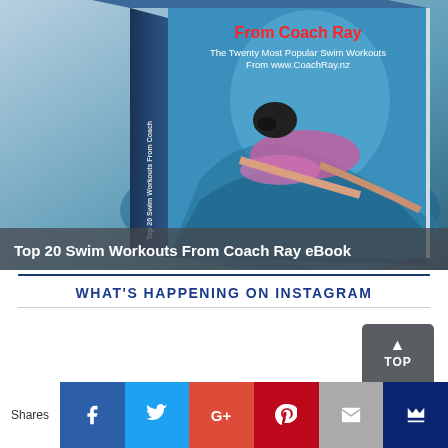[Figure (photo): 3D book cover for 'Top 20 Swim Workouts From Coach Ray eBook' showing a female swimmer doing freestyle stroke with title text on the book cover]
Top 20 Swim Workouts From Coach Ray eBook
WHAT'S HAPPENING ON INSTAGRAM
[Figure (screenshot): Instagram feed content area (blank/loading)]
Shares